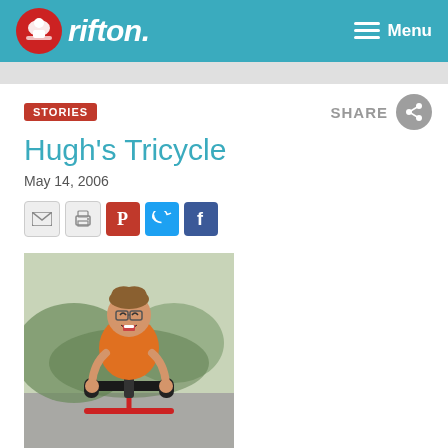rifton. Menu
STORIES
Hugh's Tricycle
May 14, 2006
[Figure (photo): Young boy with glasses wearing an orange shirt, smiling while seated on a red adaptive tricycle with black handlebar, outdoors with greenery in background.]